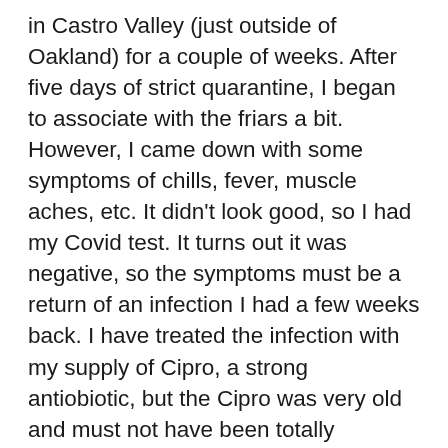in Castro Valley (just outside of Oakland) for a couple of weeks. After five days of strict quarantine, I began to associate with the friars a bit. However, I came down with some symptoms of chills, fever, muscle aches, etc. It didn't look good, so I had my Covid test. It turns out it was negative, so the symptoms must be a return of an infection I had a few weeks back. I have treated the infection with my supply of Cipro, a strong antiobiotic, but the Cipro was very old and must not have been totally effective. I am now treating it with some new Cipro from the Vatican Pharmacy (I wonder if it was blessed). Feeling better. I have been doing my visitation of the province, almost completely by skype or phone. I am not going to LA where we have a friary because the Corona Virus situation is so bad there. But I am going to the central coast tomorrow (Coalinga, Arroyo Grande and Pismo Beach). I will be back here on Wednesday. The weather is tremendous. It has been in the 70's almost every day, and not too much rain (although the area does need some more lest there be another drought). I head back to Rome on the 4th, if they let me in. Travelling these days is always uncertain, with flights being cancelled and new regulations being established every 15 minutes. Can't wait to